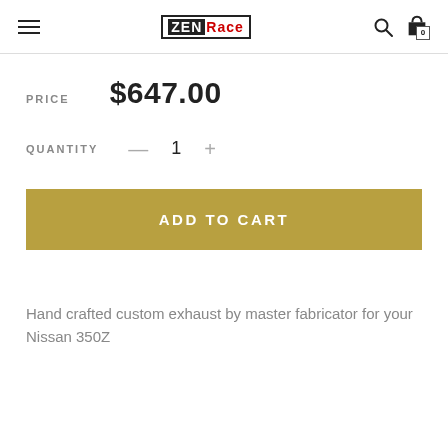ZEN Race [logo] | search | cart (0)
PRICE  $647.00
QUANTITY  — 1 +
ADD TO CART
Hand crafted custom exhaust by master fabricator for your Nissan 350Z